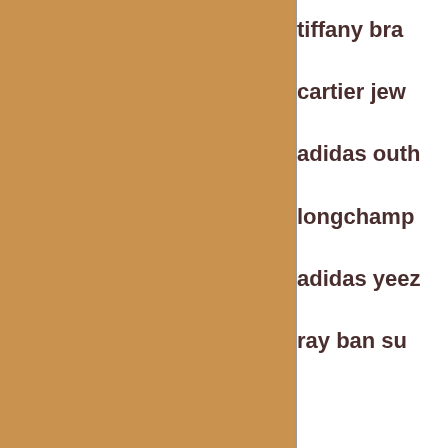[Figure (other): Large tan/golden-brown rectangular color block filling the left portion of the page]
tiffany bra
cartier jew
adidas outh
longchamp
adidas yeez
ray ban su